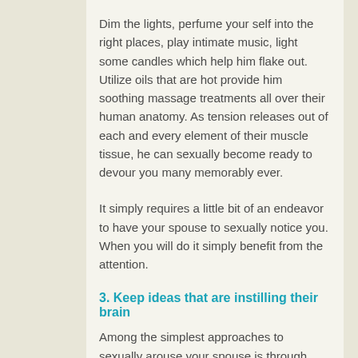Dim the lights, perfume your self into the right places, play intimate music, light some candles which help him flake out. Utilize oils that are hot provide him soothing massage treatments all over their human anatomy. As tension releases out of each and every element of their muscle tissue, he can sexually become ready to devour you many memorably ever.
It simply requires a little bit of an endeavor to have your spouse to sexually notice you. When you will do it simply benefit from the attention.
3. Keep ideas that are instilling their brain
Among the simplest approaches to sexually arouse your spouse is through assisting him photo in advance your whole intimate encounter between the both of you. Make noises, whisper sweet and sensual things into his ears, tell him that which you anticipate when